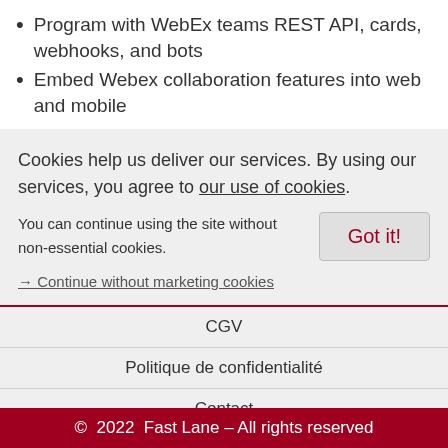Program with WebEx teams REST API, cards, webhooks, and bots
Embed Webex collaboration features into web and mobile
Cookies help us deliver our services. By using our services, you agree to our use of cookies.
You can continue using the site without non-essential cookies.
→ Continue without marketing cookies
CGV
Politique de confidentialité
Contact
Plan du site
© 2022 Fast Lane – All rights reserved